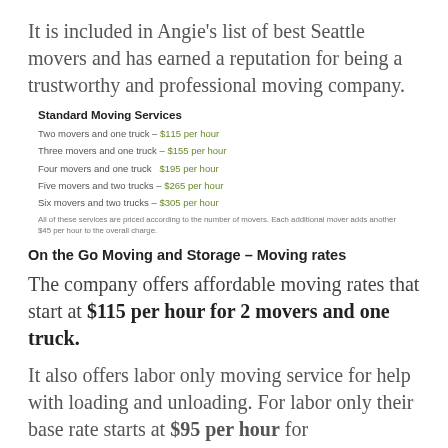It is included in Angie's list of best Seattle movers and has earned a reputation for being a trustworthy and professional moving company.
Standard Moving Services
Two movers and one truck – $115 per hour
Three movers and one truck – $155 per hour
Four movers and one truck   $195 per hour
Five movers and two trucks – $265 per hour
Six movers and two trucks – $305 per hour
All of these services are priced according to the number of movers. Each additional mover adds another $45 per hour to the overall charge.
On the Go Moving and Storage – Moving rates
The company offers affordable moving rates that start at $115 per hour for 2 movers and one truck.
It also offers labor only moving service for help with loading and unloading. For labor only their base rate starts at $95 per hour for